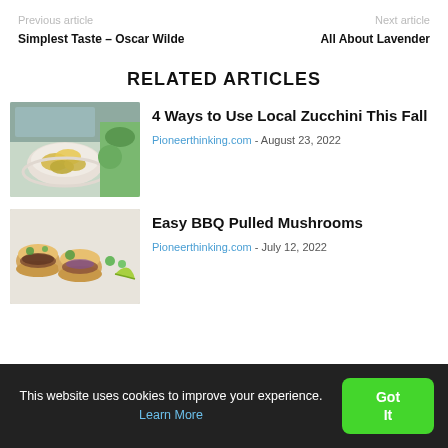Previous article | Simplest Taste – Oscar Wilde | Next article | All About Lavender
RELATED ARTICLES
[Figure (photo): Bowl of zucchini chips on a plate with sliced green zucchini in background]
4 Ways to Use Local Zucchini This Fall
Pioneerthinking.com - August 23, 2022
[Figure (photo): Mushroom sliders/tacos on a white background with cilantro and lime]
Easy BBQ Pulled Mushrooms
Pioneerthinking.com - July 12, 2022
This website uses cookies to improve your experience. Learn More